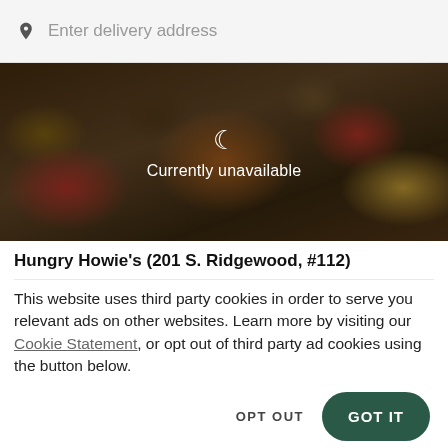Enter delivery address
[Figure (photo): Food photo showing pizzas, fried chicken, sausages, flatbreads, and sandwiches on dark plates, overlaid with a dark semi-transparent layer showing a moon icon and 'Currently unavailable' text]
Hungry Howie's (201 S. Ridgewood, #112)
This website uses third party cookies in order to serve you relevant ads on other websites. Learn more by visiting our Cookie Statement, or opt out of third party ad cookies using the button below.
OPT OUT
GOT IT